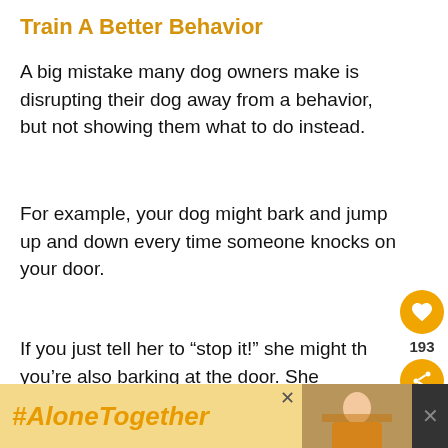Train A Better Behavior
A big mistake many dog owners make is disrupting their dog away from a behavior, but not showing them what to do instead.
For example, your dog might bark and jump up and down every time someone knocks on your door.
If you just tell her to “stop it!” she might think you’re also barking at the door. She might eventually stop barking, but may continue do so when you’re not home.
[Figure (other): Advertisement banner at bottom showing #AloneTogether hashtag with a photo of a person cooking and close buttons.]